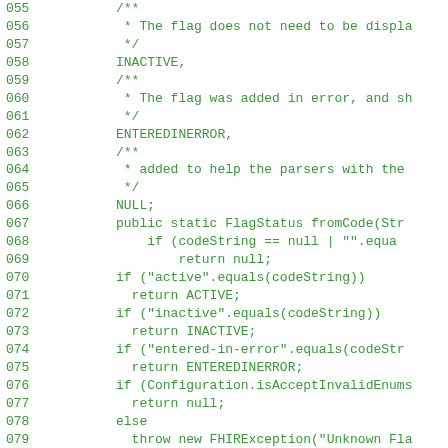[Figure (screenshot): Source code listing showing Java enum FlagStatus with values INACTIVE, ENTEREDINERROR, NULL and methods fromCode and toCode, displayed with green monospace font on white background. Line numbers 055-083 visible.]